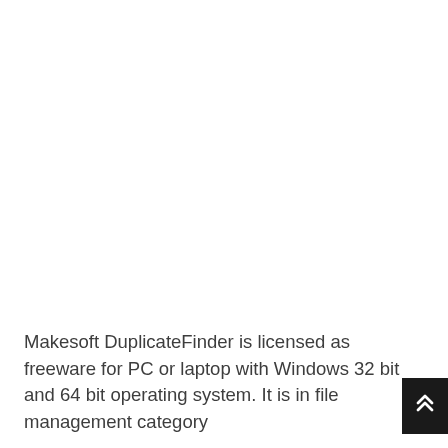Makesoft DuplicateFinder is licensed as freeware for PC or laptop with Windows 32 bit and 64 bit operating system. It is in file management category